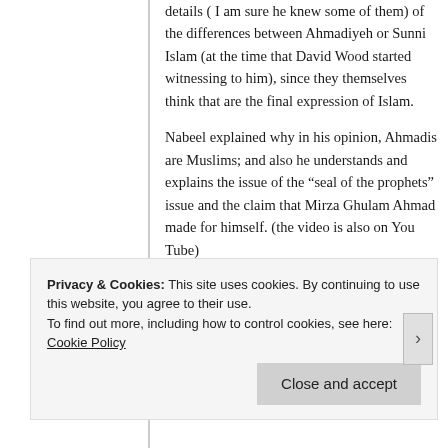details ( I am sure he knew some of them) of the differences between Ahmadiyeh or Sunni Islam (at the time that David Wood started witnessing to him), since they themselves think that are the final expression of Islam.
Nabeel explained why in his opinion, Ahmadis are Muslims; and also he understands and explains the issue of the “seal of the prophets” issue and the claim that Mirza Ghulam Ahmad made for himself. (the video is also on You Tube)
http://blog.nabeelqureshi.com/2011/06/ahmadiyya-and-islam-are-ahmadis-muslims.html
★ Like
Privacy & Cookies: This site uses cookies. By continuing to use this website, you agree to their use.
To find out more, including how to control cookies, see here: Cookie Policy
Close and accept